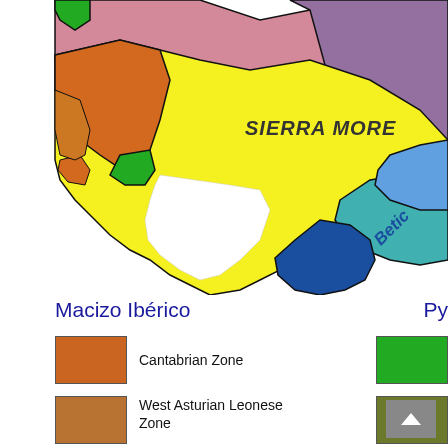[Figure (map): Geological/tectonic zone map of the Iberian Peninsula showing colored regions: Sierra Morena labeled in the center-right area, Betic zone visible in bottom-right with blue and teal colors, orange Cantabrian zone on left, pink/mauve zones, yellow zones, green zones. Black outlines delineate zone boundaries.]
Macizo Ibérico
Py
Cantabrian Zone
West Asturian Leonese Zone